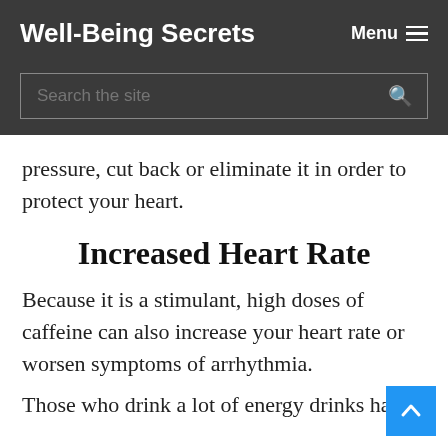Well-Being Secrets  Menu ≡
pressure, cut back or eliminate it in order to protect your heart.
Increased Heart Rate
Because it is a stimulant, high doses of caffeine can also increase your heart rate or worsen symptoms of arrhythmia.
Those who drink a lot of energy drinks have